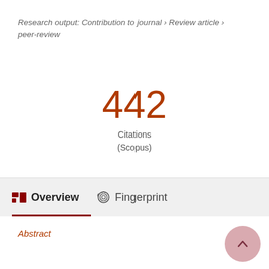Research output: Contribution to journal › Review article › peer-review
442 Citations (Scopus)
[Figure (donut-chart): Orange donut chart with the number 3 in the center]
Overview   Fingerprint
Abstract